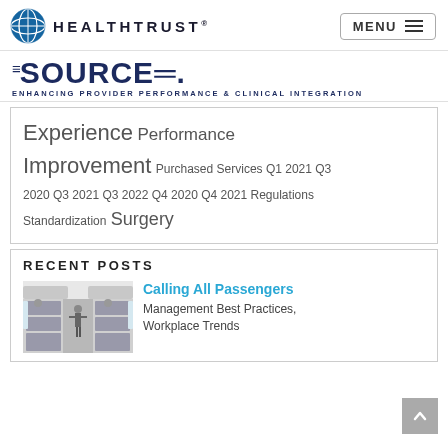HEALTHTRUST
[Figure (logo): HealthTrust globe logo with text]
Experience Performance Improvement Purchased Services Q1 2021 Q3 2020 Q3 2021 Q3 2022 Q4 2020 Q4 2021 Regulations Standardization Surgery
RECENT POSTS
[Figure (photo): Airplane cabin interior with passengers and flight attendant]
Calling All Passengers
Management Best Practices, Workplace Trends